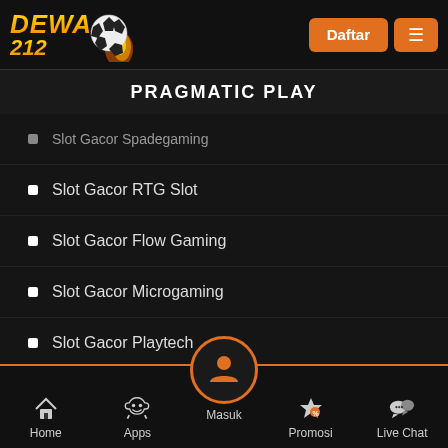DEWA 212 — Daftar / Menu
PRAGMATIC PLAY
❏ Slot Gacor Spadegaming
❏ Slot Gacor RTG Slot
❏ Slot Gacor Flow Gaming
❏ Slot Gacor Microgaming
❏ Slot Gacor Playtech
❏ Slot Gacor Habanero
❏ Slot Gacor PG Soft
Home | Apps | Masuk | Promosi | Live Chat